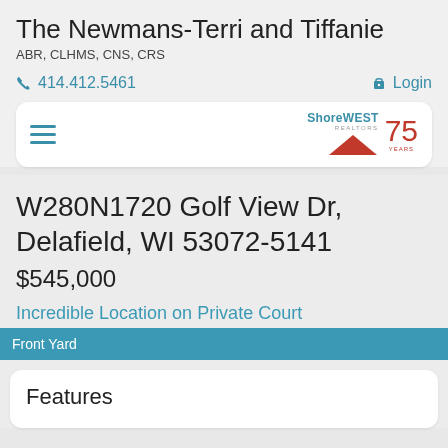The Newmans-Terri and Tiffanie
ABR, CLHMS, CNS, CRS
414.412.5461
Login
[Figure (logo): Shorewest 75 Years logo with red triangle graphic]
W280N1720 Golf View Dr, Delafield, WI 53072-5141
$545,000
Incredible Location on Private Court
Front Yard
Features